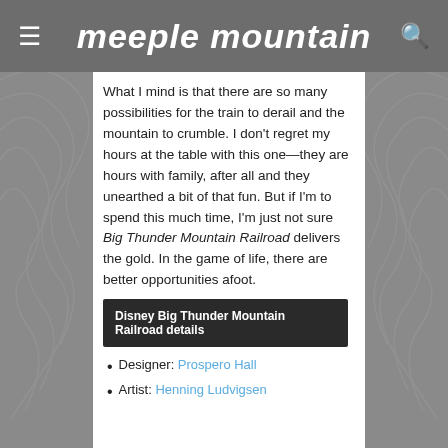meeple mountain
What I mind is that there are so many possibilities for the train to derail and the mountain to crumble. I don't regret my hours at the table with this one—they are hours with family, after all and they unearthed a bit of that fun. But if I'm to spend this much time, I'm just not sure Big Thunder Mountain Railroad delivers the gold. In the game of life, there are better opportunities afoot.
Disney Big Thunder Mountain Railroad details
Designer: Prospero Hall
Artist: Henning Ludvigsen